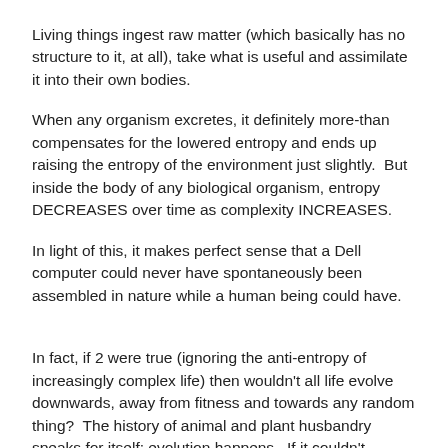Living things ingest raw matter (which basically has no structure to it, at all), take what is useful and assimilate it into their own bodies.
When any organism excretes, it definitely more-than compensates for the lowered entropy and ends up raising the entropy of the environment just slightly.  But inside the body of any biological organism, entropy DECREASES over time as complexity INCREASES.
In light of this, it makes perfect sense that a Dell computer could never have spontaneously been assembled in nature while a human being could have.
In fact, if 2 were true (ignoring the anti-entropy of increasingly complex life) then wouldn't all life evolve downwards, away from fitness and towards any random thing?  The history of animal and plant husbandry speaks for itself; evolution happens.  If it couldn't possibly give rise to humanity then, logically, we could expect everything to eventually devolve into single-celled organisms and in the distant future even that.